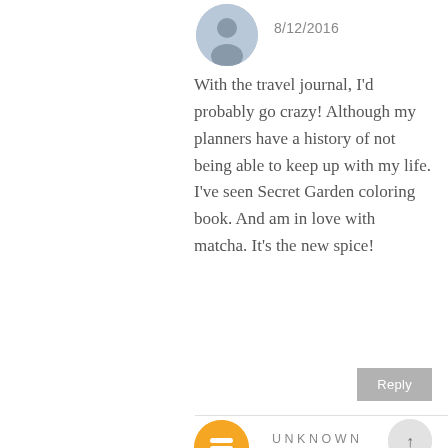[Figure (photo): Circular avatar photo of a person at the top of the comment]
8/12/2016
With the travel journal, I'd probably go crazy! Although my planners have a history of not being able to keep up with my life. I've seen Secret Garden coloring book. And am in love with matcha. It's the new spice!
Reply
[Figure (illustration): Circular orange Blogger icon avatar at the bottom]
UNKNOWN